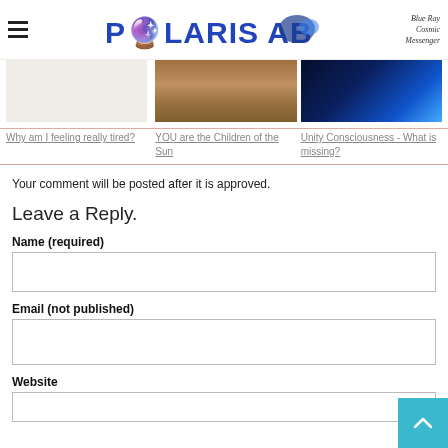POLARIS AB — Blue Ray Cosmic Messenger
[Figure (photo): Sandy/dirt ground photo (related article thumbnail)]
[Figure (photo): Blue glowing brain/neural pattern photo (related article thumbnail)]
Why am I feeling really tired?
YOU are the Children of the Sun
Unity Consciousness - What is missing?
Your comment will be posted after it is approved.
Leave a Reply.
Name (required)
Email (not published)
Website